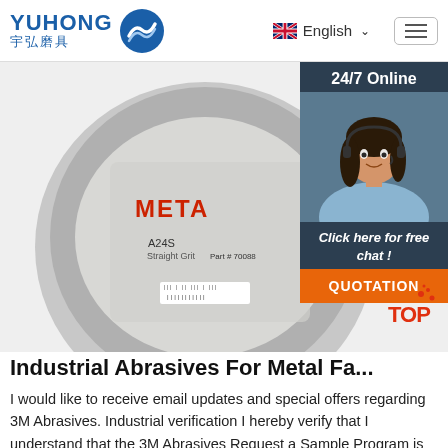[Figure (logo): Yuhong abrasives company logo with blue wave icon and Chinese characters 宇弘磨具]
[Figure (screenshot): Navigation header with English language selector (UK flag) and hamburger menu button]
[Figure (photo): Metal grinding/cutting abrasive disc product photo with label showing A24S grit, METAL use, barcode, Part # 70088]
[Figure (photo): 24/7 Online customer service panel showing woman with headset, dark background, 'Click here for free chat!' text and orange QUOTATION button]
Industrial Abrasives For Metal Fa...
I would like to receive email updates and special offers regarding 3M Abrasives. Industrial verification I hereby verify that I understand that the 3M Abrasives Request a Sample Program is intended for trained industrial and occupational customers for workplace use only, and is not available to consumers (e.g., for home, personal, primary or secondary school, recreational/sporting, or other ...